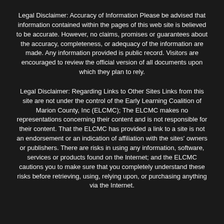Legal Disclaimer: Accuracy of Information Please be advised that information contained within the pages of this web site is believed to be accurate. However, no claims, promises or guarantees about the accuracy, completeness, or adequacy of the information are made. Any information provided is public record. Visitors are encouraged to review the official version of all documents upon which they plan to rely.
Legal Disclaimer: Regarding Links to Other Sites Links from this site are not under the control of the Early Learning Coalition of Marion County, Inc (ELCMC); The ELCMC makes no representations concerning their content and is not responsible for their content. That the ELCMC has provided a link to a site is not an endorsement or an indication of affiliation with the sites' owners or publishers. There are risks in using any information, software, services or products found on the Internet; and the ELCMC cautions you to make sure that you completely understand these risks before retrieving, using, relying upon, or purchasing anything via the Internet.